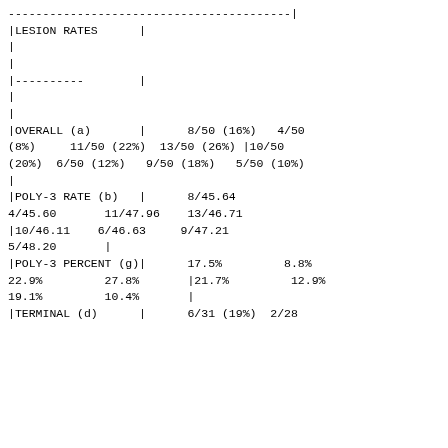| CATEGORY | GROUP1 | GROUP2 | GROUP3 | GROUP4 | GROUP5 | GROUP6 | GROUP7 | GROUP8 |
| --- | --- | --- | --- | --- | --- | --- | --- | --- |
| LESION RATES |  |  |  |  |  |  |  |  |
| OVERALL (a) | 8/50 (16%) | 4/50 (8%) | 11/50 (22%) | 13/50 (26%) | 10/50 (20%) | 6/50 (12%) | 9/50 (18%) | 5/50 (10%) |
| POLY-3 RATE (b) | 8/45.64 | 4/45.60 | 11/47.96 | 13/46.71 | 10/46.11 | 6/46.63 | 9/47.21 | 5/48.20 |
| POLY-3 PERCENT (g) | 17.5% | 8.8% | 22.9% | 27.8% | 21.7% | 12.9% | 19.1% | 10.4% |
| TERMINAL (d) | 6/31 (19%) | 2/28 |  |  |  |  |  |  |